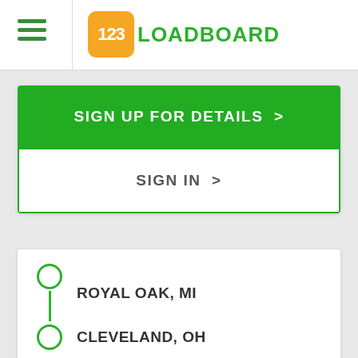[Figure (logo): 123Loadboard logo with orange rounded square containing '123' and green text 'LOADBOARD']
SIGN UP FOR DETAILS >
SIGN IN >
ROYAL OAK, MI
CLEVELAND, OH